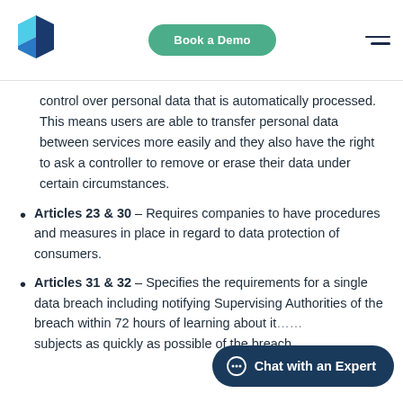[Figure (logo): Blue geometric diamond/book logo]
Book a Demo
control over personal data that is automatically processed. This means users are able to transfer personal data between services more easily and they also have the right to ask a controller to remove or erase their data under certain circumstances.
Articles 23 & 30 – Requires companies to have procedures and measures in place in regard to data protection of consumers.
Articles 31 & 32 – Specifies the requirements for a single data breach including notifying Supervising Authorities of the breach within 72 hours of learning about it... subjects as quickly as possible of the breach
Chat with an Expert